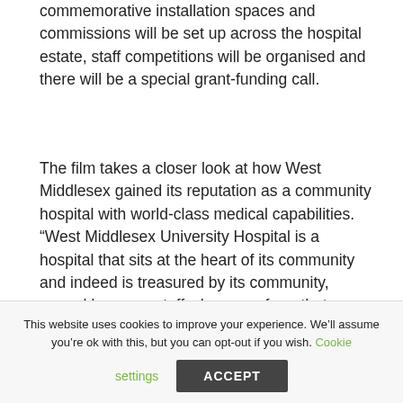commemorative installation spaces and commissions will be set up across the hospital estate, staff competitions will be organised and there will be a special grant-funding call.
The film takes a closer look at how West Middlesex gained its reputation as a community hospital with world-class medical capabilities. “West Middlesex University Hospital is a hospital that sits at the heart of its community and indeed is treasured by its community, served by many staff who come from that community,” said Chelsea and Westminster Hospital NHS Foundation Trust CEO Lesley Watts. “We look
This website uses cookies to improve your experience. We’ll assume you’re ok with this, but you can opt-out if you wish. Cookie settings ACCEPT